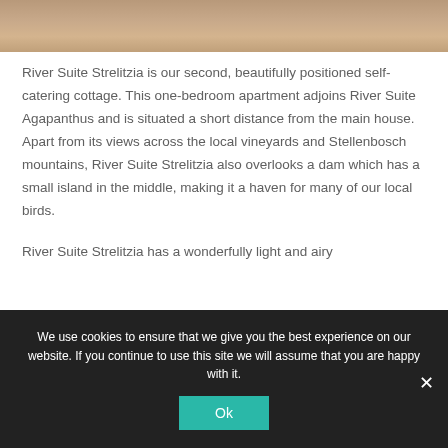[Figure (photo): Partial photo strip at top of page showing warm brown/tan tones, likely interior or exterior of cottage]
River Suite Strelitzia is our second, beautifully positioned self-catering cottage. This one-bedroom apartment adjoins River Suite Agapanthus and is situated a short distance from the main house. Apart from its views across the local vineyards and Stellenbosch mountains, River Suite Strelitzia also overlooks a dam which has a small island in the middle, making it a haven for many of our local birds.
River Suite Strelitzia has a wonderfully light and airy
We use cookies to ensure that we give you the best experience on our website. If you continue to use this site we will assume that you are happy with it.